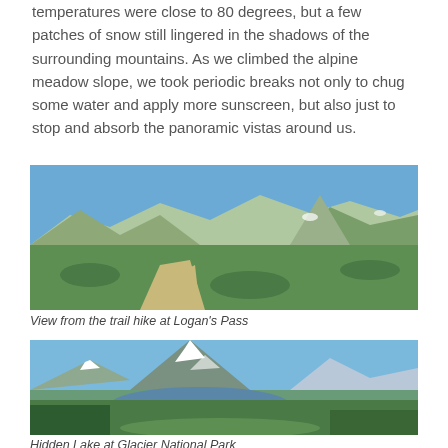temperatures were close to 80 degrees, but a few patches of snow still lingered in the shadows of the surrounding mountains. As we climbed the alpine meadow slope, we took periodic breaks not only to chug some water and apply more sunscreen, but also just to stop and absorb the panoramic vistas around us.
[Figure (photo): Panoramic view of alpine meadow trail at Logan's Pass with mountains and blue sky]
View from the trail hike at Logan's Pass
[Figure (photo): Panoramic view of Hidden Lake at Glacier National Park with mountains and snow patches]
Hidden Lake at Glacier National Park